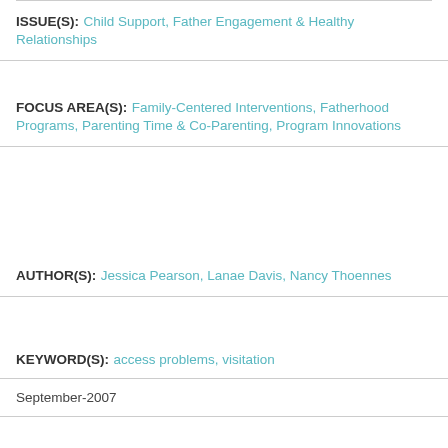ISSUE(S): Child Support, Father Engagement & Healthy Relationships
FOCUS AREA(S): Family-Centered Interventions, Fatherhood Programs, Parenting Time & Co-Parenting, Program Innovations
AUTHOR(S): Jessica Pearson, Lanae Davis, Nancy Thoennes
KEYWORD(S): access problems, visitation
September-2007